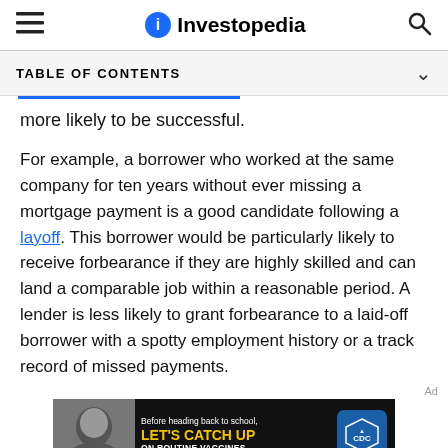Investopedia
TABLE OF CONTENTS
more likely to be successful.
For example, a borrower who worked at the same company for ten years without ever missing a mortgage payment is a good candidate following a layoff. This borrower would be particularly likely to receive forbearance if they are highly skilled and can land a comparable job within a reasonable period. A lender is less likely to grant forbearance to a laid-off borrower with a spotty employment history or a track record of missed payments.
[Figure (photo): CDC advertisement banner: Before heading back to school, LET'S CATCH UP ON ROUTINE VACCINES, with CDC logo badge and photo of a young girl]